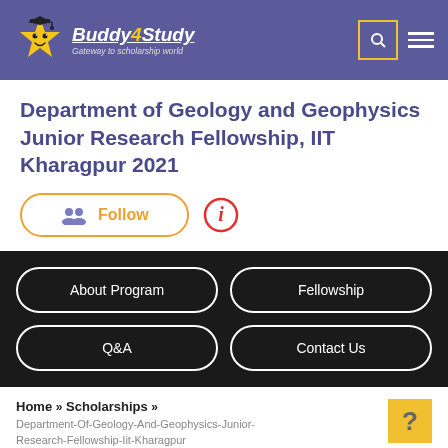Buddy4Study — Gateway to scholarship world
Department of Geology and Geophysics Junior Research Fellowship, IIT Kharagpur 2021
[Figure (other): Follow button with person/group icon and orange outline, plus a circled info icon (i) in red]
About Program | Fellowship | Q&A | Contact Us
Home » Scholarships » Department-Of-Geology-And-Geophysics-Junior-Research-Fellowship-Iit-Kharagpur